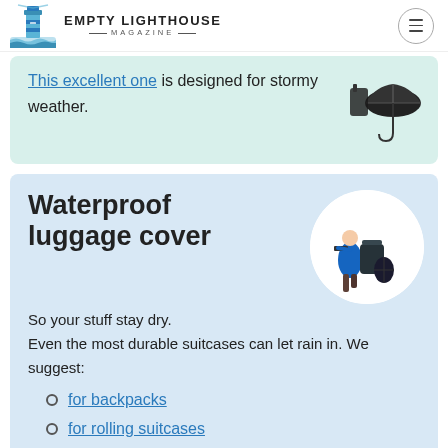Empty Lighthouse Magazine
This excellent one is designed for stormy weather.
[Figure (photo): Black folding umbrella shown closed]
Waterproof luggage cover
[Figure (photo): Person with backpack and waterproof backpack cover set]
So your stuff stay dry. Even the most durable suitcases can let rain in. We suggest:
for backpacks
for rolling suitcases